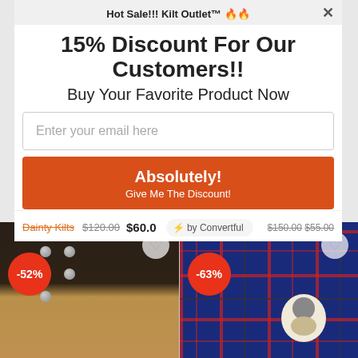Hot Sale!!! Kilt Outlet™ 🔥🔥
15% Discount For Our Customers!!
Buy Your Favorite Product Now
Enter your email here
Absolutely!
Give Me The Discount!
$120.00 $60.00 ⚡ by Convertful
[Figure (photo): Product image of a black and tan kilt with metal studs and buckles, showing -52% discount badge]
[Figure (photo): Product image of a blue tartan kilt with red pattern and a ram badge, showing -63% discount badge]